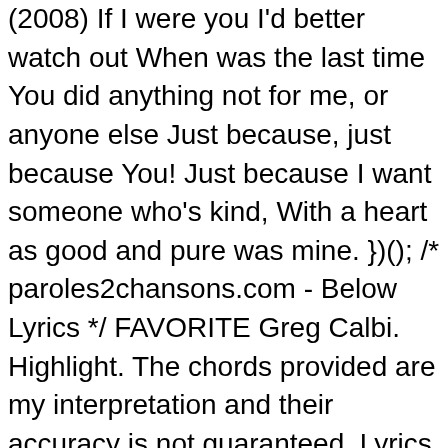(2008) If I were you I'd better watch out When was the last time You did anything not for me, or anyone else Just because, just because You! Just because I want someone who's kind, With a heart as good and pure was mine. })(); /* paroles2chansons.com - Below Lyrics */ FAVORITE Greg Calbi. Highlight. The chords provided are my interpretation and their accuracy is not guaranteed. Lyrics Artists: J John Lennon Just Because. www2.parl.gc.ca. I will carry you if that would make it better. Album: A Tribute to Flexi-Pop, Volume 4. I won't let you walk home tonight alone, alone. Also there are waiting you more than 15.000 lyrics songs from other animes Wish I could kick you in your ass without going to jail Or lock you in a trunk without creating a smell If only for one night, I could take you by your hand And cut that ho off, while it's still in the heart of a man Well, I know my actions speak louder than words. He also helped racially integrate country and pop music during the 1960s with his crossover success on ABC Records, most notably with his Modern Sounds albums. About Just Because lyrics. Lyrics to Just Because by Elvis Presley from the Complete Sun Sessions [Chansons Pour J] album including lyrics.